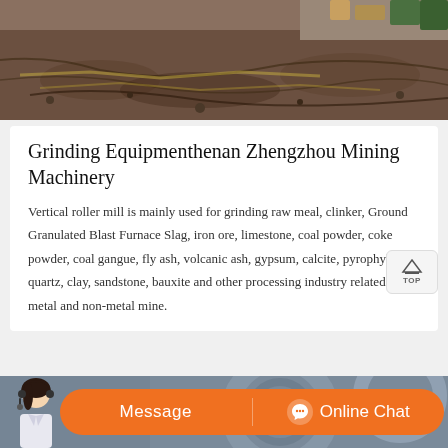[Figure (photo): Outdoor mining site with dark rocky/earthy ground, construction equipment visible at top right, photographed from ground level looking across a large excavated or material-piled area.]
Grinding Equipmenthenan Zhengzhou Mining Machinery
Vertical roller mill is mainly used for grinding raw meal, clinker, Ground Granulated Blast Furnace Slag, iron ore, limestone, coal powder, coke powder, coal gangue, fly ash, volcanic ash, gypsum, calcite, pyrophyllite, quartz, clay, sandstone, bauxite and other processing industry related to metal and non-metal mine.
[Figure (photo): Industrial machinery parts — large circular metal grinding wheels or mill components, photographed close-up showing metallic surfaces. Customer service representative photo overlaid at bottom left with orange CTA bar.]
Message   Online Chat